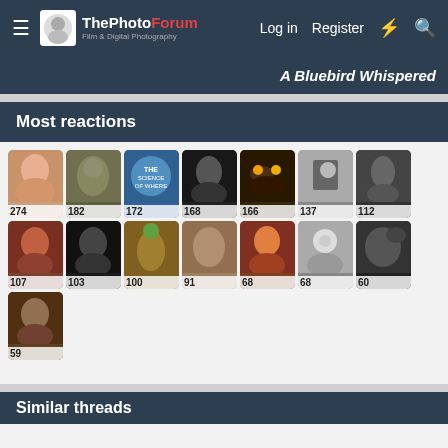The Photo Forum — Log in  Register
A Bluebird Whispered
Most reactions
[Figure (photo): Grid of user avatar thumbnails with reaction counts: 274, 182, 172, 168, 166, 137, 112, 107, 103, 100, 91, 68, 68, 60, 59]
Similar threads
[Figure (photo): Thumbnail of flower/lily photo for Cardinals thread]
Cardinals
FergusonK · Nature & Wildlife